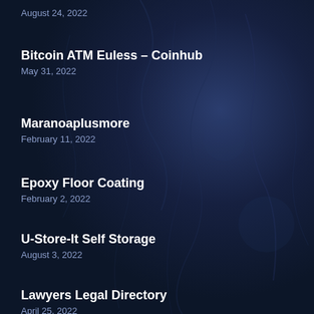[partial title]
August 24, 2022
Bitcoin ATM Euless – Coinhub
May 31, 2022
Maranoaplusmore
February 11, 2022
Epoxy Floor Coating
February 2, 2022
U-Store-It Self Storage
August 3, 2022
Lawyers Legal Directory
April 25, 2022